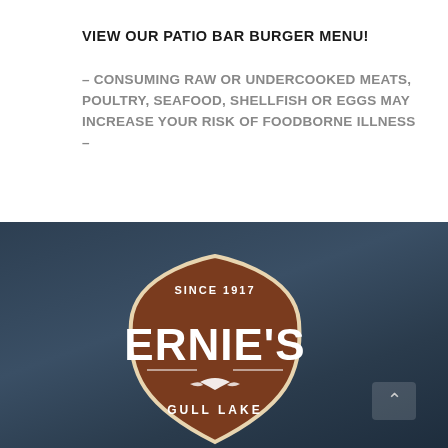VIEW OUR PATIO BAR BURGER MENU!
– CONSUMING RAW OR UNDERCOOKED MEATS, POULTRY, SEAFOOD, SHELLFISH OR EGGS MAY INCREASE YOUR RISK OF FOODBORNE ILLNESS –
[Figure (logo): Ernie's Gull Lake logo badge — brown shield shape with white text reading 'SINCE 1917' at top, 'ERNIE'S' large in center, a bird/fish icon, and 'GULL LAKE' at bottom, on a dark navy background]